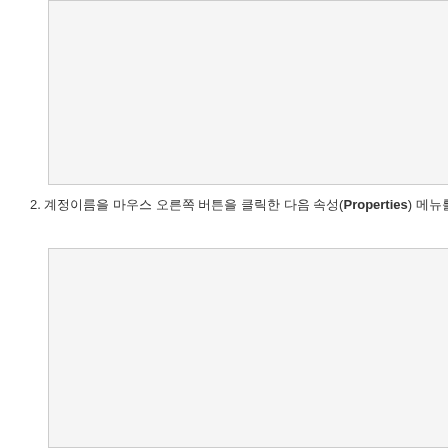[Figure (screenshot): Screenshot showing a UI window, top portion]
2. 계정이름을 마우스 오른쪽 버튼을 클릭한 다음 속성(Properties) 메뉴를 선택합니다.
[Figure (screenshot): Screenshot showing a UI window, bottom portion]